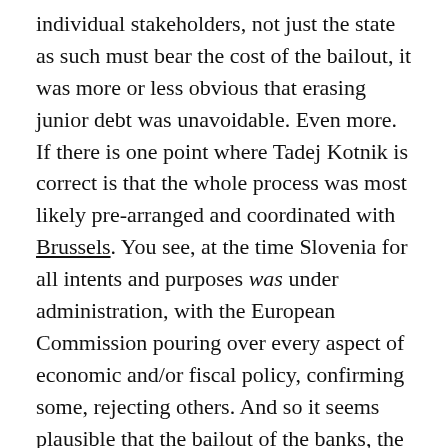individual stakeholders, not just the state as such must bear the cost of the bailout, it was more or less obvious that erasing junior debt was unavoidable. Even more. If there is one point where Tadej Kotnik is correct is that the whole process was most likely pre-arranged and coordinated with Brussels. You see, at the time Slovenia for all intents and purposes was under administration, with the European Commission pouring over every aspect of economic and/or fiscal policy, confirming some, rejecting others. And so it seems plausible that the bailout of the banks, the extent and the mechanics of it were approved by the EC before they were enacted by the Bratušek-Čufer-Jazbec trio. That the Commission formally approved the measures taken fairly soon thereafter only goes to strengthen the point.
The above seems to suggest that the problem was not so much in the execution of the bailout but in